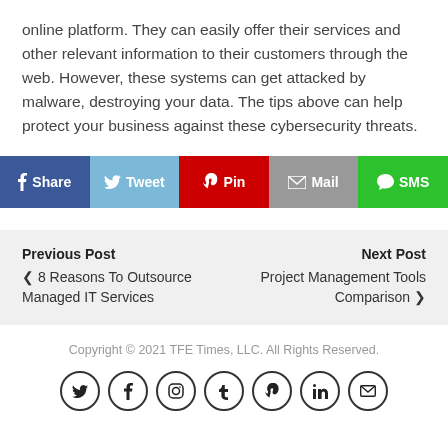online platform. They can easily offer their services and other relevant information to their customers through the web. However, these systems can get attacked by malware, destroying your data. The tips above can help protect your business against these cybersecurity threats.
[Figure (other): Social share buttons: Share (Facebook, blue), Tweet (Twitter, light blue), Pin (Pinterest, red), Mail (grey), SMS (green)]
Previous Post | 8 Reasons To Outsource Managed IT Services  ||  Next Post | Project Management Tools Comparison
Copyright © 2021 TFE Times, LLC. All Rights Reserved.